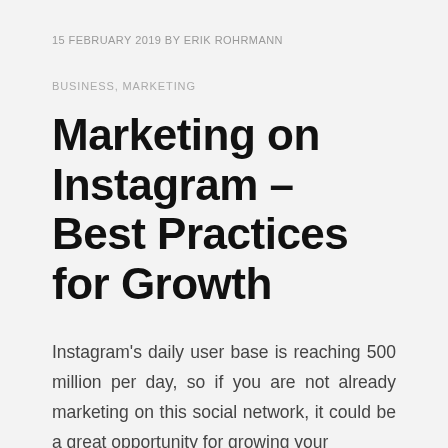15 FEBRUARY 2019 BY ERIK ROHRMANN
BUSINESS, MARKETING
Marketing on Instagram – Best Practices for Growth
Instagram's daily user base is reaching 500 million per day, so if you are not already marketing on this social network, it could be a great opportunity for growing your